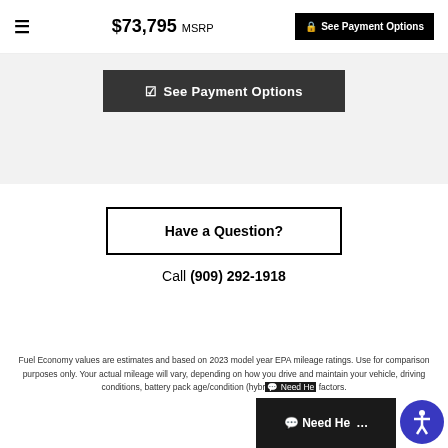≡   $73,795 MSRP   🔒 See Payment Options
[Figure (screenshot): Dark button with checkmark icon and text 'See Payment Options' on gray background]
Have a Question?
Call (909) 292-1918
Fuel Economy values are estimates and based on 2023 model year EPA mileage ratings. Use for comparison purposes only. Your actual mileage will vary, depending on how you drive and maintain your vehicle, driving conditions, battery pack age/condition (hybr... factors.